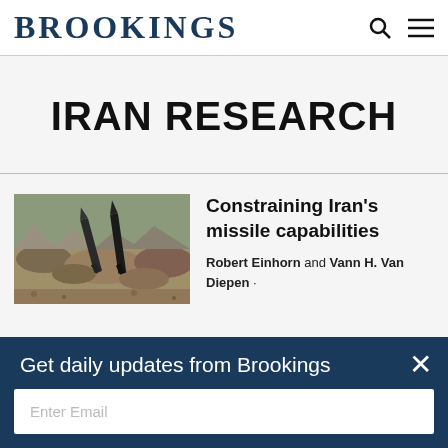BROOKINGS
IRAN RESEARCH
[Figure (photo): Aerial photograph showing missiles or rocket projectiles on a rocky desert terrain]
Constraining Iran's missile capabilities
Robert Einhorn and Vann H. Van Diepen
Get daily updates from Brookings
Enter Email